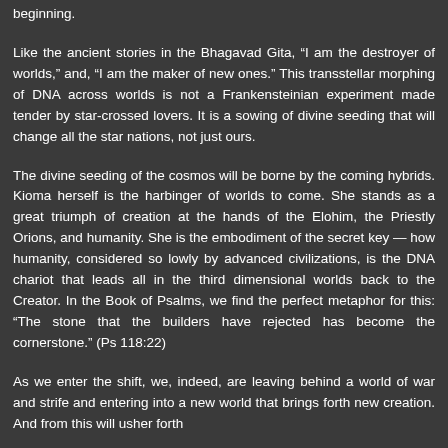beginning.
Like the ancient stories in the Bhagavad Gita, “I am the destroyer of worlds,” and, “I am the maker of new ones.” This transstellar morphing of DNA across worlds is not a Frankensteinian experiment made tender by star-crossed lovers. It is a sowing of divine seeding that will change all the star nations, not just ours.
The divine seeding of the cosmos will be borne by the coming hybrids. Kioma herself is the harbinger of worlds to come. She stands as a great triumph of creation at the hands of the Elohim, the Priestly Orions, and humanity. She is the embodiment of the secret key — how humanity, considered so lowly by advanced civilizations, is the DNA chariot that leads all in the third dimensional worlds back to the Creator. In the Book of Psalms, we find the perfect metaphor for this: “The stone that the builders have rejected has become the cornerstone.” (Ps 118:22)
As we enter the shift, we, indeed, are leaving behind a world of war and strife and entering into a new world that brings forth new creation. And from this will usher forth